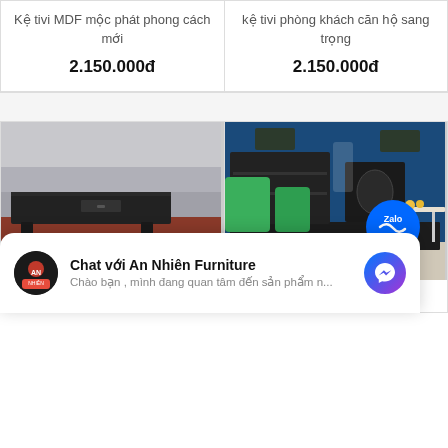Kệ tivi MDF mộc phát phong cách mới
2.150.000đ
kệ tivi phòng khách căn hộ sang trọng
2.150.000đ
[Figure (photo): Dark black TV stand furniture photographed outdoors on red gravel ground]
kê tủ để tivi mẫu mã đa
[Figure (photo): Dark TV stand in a blue-walled room with green cushions and a Zalo icon overlay]
kê tủ đẹp thiết kế hiện
Chat với An Nhiên Furniture
Chào bạn , mình đang quan tâm đến sản phẩm n...